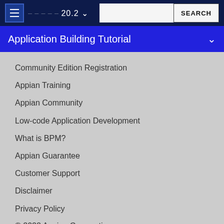20.2 SEARCH
Application Building Tutorial
Community Edition Registration
Appian Training
Appian Community
Low-code Application Development
What is BPM?
Appian Guarantee
Customer Support
Disclaimer
Privacy Policy
© 2022 Appian Corporation